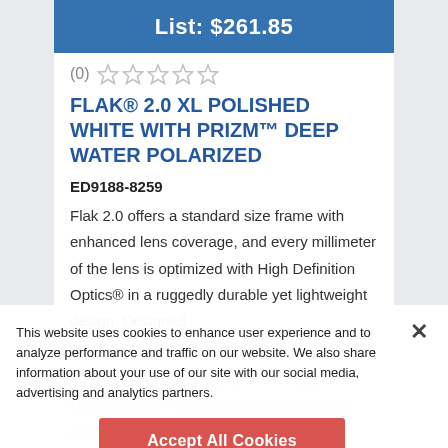List: $261.85
(0) ☆☆☆☆☆
FLAK® 2.0 XL POLISHED WHITE WITH PRIZM™ DEEP WATER POLARIZED
ED9188-8259
Flak 2.0 offers a standard size frame with enhanced lens coverage, and every millimeter of the lens is optimized with High Definition Optics® in a ruggedly durable yet lightweight design. Designed
to push your limits with patented XYZ Optics® for razor sharp clarity and secure grip of Unobtanium®. HDO® precision gives less distorted vision across the entire field of view... VIEW DETAILS
ADD TO CART
This website uses cookies to enhance user experience and to analyze performance and traffic on our website. We also share information about your use of our site with our social media, advertising and analytics partners.
Accept All Cookies